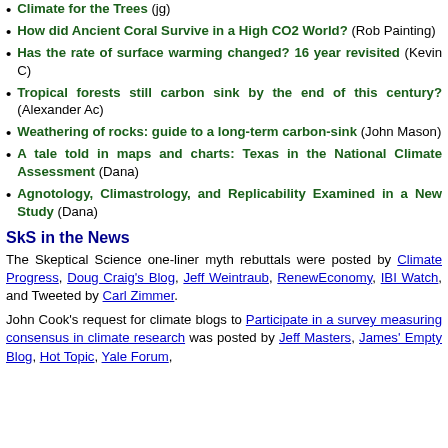Climate for the Trees (jg)
How did Ancient Coral Survive in a High CO2 World? (Rob Painting)
Has the rate of surface warming changed? 16 year revisited (Kevin C)
Tropical forests still carbon sink by the end of this century? (Alexander Ac)
Weathering of rocks: guide to a long-term carbon-sink (John Mason)
A tale told in maps and charts: Texas in the National Climate Assessment (Dana)
Agnotology, Climastrology, and Replicability Examined in a New Study (Dana)
SkS in the News
The Skeptical Science one-liner myth rebuttals were posted by Climate Progress, Doug Craig's Blog, Jeff Weintraub, RenewEconomy, IBI Watch, and Tweeted by Carl Zimmer.
John Cook's request for climate blogs to Participate in a survey measuring consensus in climate research was posted by Jeff Masters, James' Empty Blog, Hot Topic, Yale Forum, Stoat, and HotWhopper.